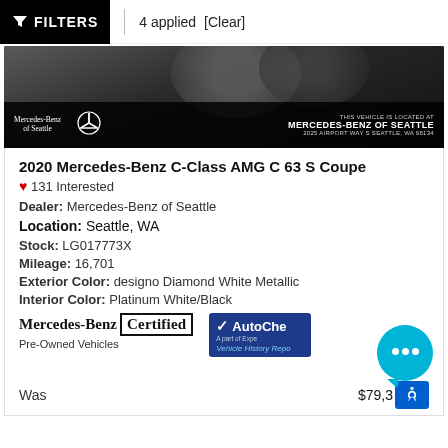FILTERS | 4 applied [Clear]
[Figure (photo): Mercedes-Benz C-Class vehicle photo showing wheel and grille, with Mercedes-Benz of Seattle dealer overlay and address: 2025 Airport Way S Seattle, WA 98134]
2020 Mercedes-Benz C-Class AMG C 63 S Coupe
❤ 131 Interested
Dealer: Mercedes-Benz of Seattle
Location: Seattle, WA
Stock: LG017773X
Mileage: 16,701
Exterior Color: designo Diamond White Metallic
Interior Color: Platinum White/Black
[Figure (logo): Mercedes-Benz Certified Pre-Owned Vehicles badge and AutoCheck Vehicle History Report badge]
Was $79,3...